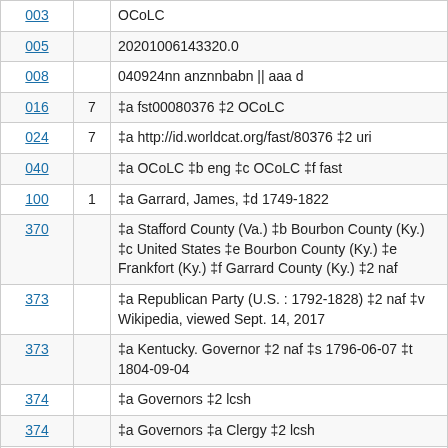| Tag | Ind | Data |
| --- | --- | --- |
| 003 |  | OCoLC |
| 005 |  | 20201006143320.0 |
| 008 |  | 040924nn anznnbabn || aaa d |
| 016 | 7 | ‡a fst00080376 ‡2 OCoLC |
| 024 | 7 | ‡a http://id.worldcat.org/fast/80376 ‡2 uri |
| 040 |  | ‡a OCoLC ‡b eng ‡c OCoLC ‡f fast |
| 100 | 1 | ‡a Garrard, James, ‡d 1749-1822 |
| 370 |  | ‡a Stafford County (Va.) ‡b Bourbon County (Ky.) ‡c United States ‡e Bourbon County (Ky.) ‡e Frankfort (Ky.) ‡f Garrard County (Ky.) ‡2 naf |
| 373 |  | ‡a Republican Party (U.S. : 1792-1828) ‡2 naf ‡v Wikipedia, viewed Sept. 14, 2017 |
| 373 |  | ‡a Kentucky. Governor ‡2 naf ‡s 1796-06-07 ‡t 1804-09-04 |
| 374 |  | ‡a Governors ‡2 lcsh |
| 374 |  | ‡a Governors ‡a Clergy ‡2 lcsh |
| 375 |  | ‡a Males ‡2 lcdgt |